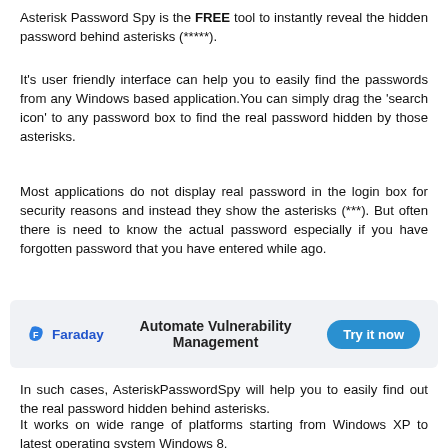Asterisk Password Spy is the FREE tool to instantly reveal the hidden password behind asterisks (*****.
It's user friendly interface can help you to easily find the passwords from any Windows based application.You can simply drag the 'search icon' to any password box to find the real password hidden by those asterisks.
Most applications do not display real password in the login box for security reasons and instead they show the asterisks (***). But often there is need to know the actual password especially if you have forgotten password that you have entered while ago.
[Figure (infographic): Advertisement banner for Faraday: logo on left, text 'Automate Vulnerability Management' in center, 'Try it now' button on right, gray background]
In such cases, AsteriskPasswordSpy will help you to easily find out the real password hidden behind asterisks.
It works on wide range of platforms starting from Windows XP to latest operating system Windows 8.